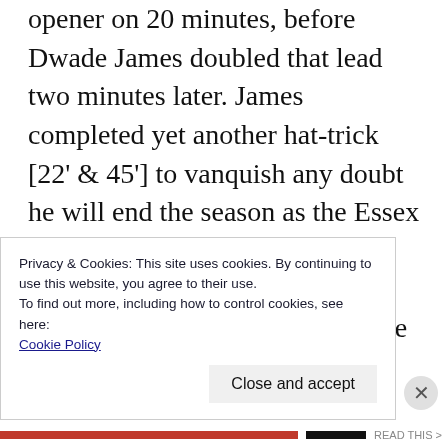opener on 20 minutes, before Dwade James doubled that lead two minutes later. James completed yet another hat-trick [22' & 45'] to vanquish any doubt he will end the season as the Essex Senior League top goal-scorer. Kye Jude did get one back two minutes before James' third of the afternoon on 43 minutes though Manor were up against it. Reece Conway made it five before Mohamed Kargbo got a second for the hosts midway through the second-half. Manor finish 17th, 14 points clear
Privacy & Cookies: This site uses cookies. By continuing to use this website, you agree to their use.
To find out more, including how to control cookies, see here:
Cookie Policy
Close and accept